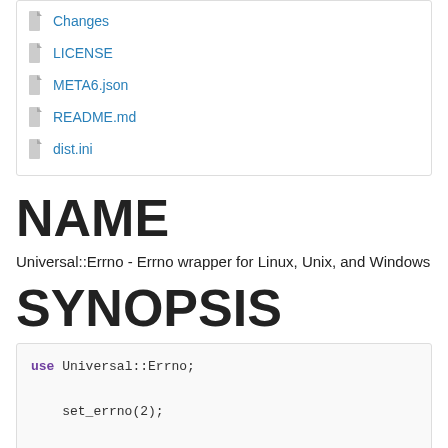Changes
LICENSE
META6.json
README.md
dist.ini
NAME
Universal::Errno - Errno wrapper for Linux, Unix, and Windows
SYNOPSIS
use Universal::Errno;

    set_errno(2);

    say errno;
    say "failed: {errno}";
    say +errno;                    #2